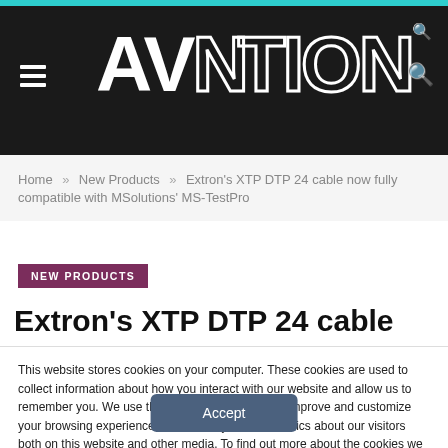AVNation
Home » New Products » Extron's XTP DTP 24 cable now fully compatible with MSolutions' MS-TestPro
NEW PRODUCTS
Extron's XTP DTP 24 cable
This website stores cookies on your computer. These cookies are used to collect information about how you interact with our website and allow us to remember you. We use this information in order to improve and customize your browsing experience and for analytics and metrics about our visitors both on this website and other media. To find out more about the cookies we use, see our Privacy Policy.
Accept